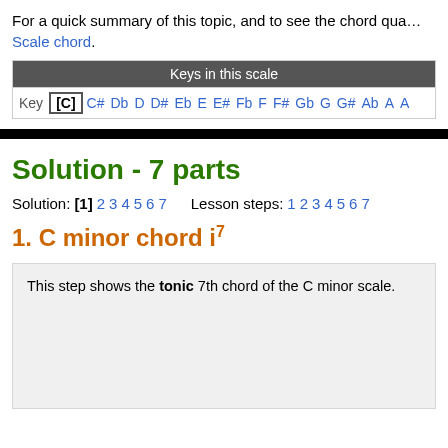For a quick summary of this topic, and to see the chord qua… Scale chord.
| Keys in this scale |
| --- |
| Key [C] C# Db D D# Eb E E# Fb F F# Gb G G# Ab A A… |
Solution - 7 parts
Solution: [1] 2 3 4 5 6 7   Lesson steps: 1 2 3 4 5 6 7
1. C minor chord i⁷
This step shows the tonic 7th chord of the C minor scale.